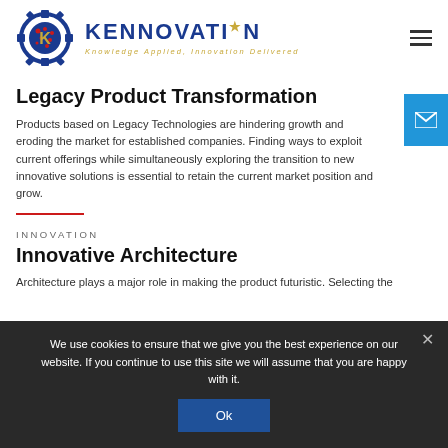[Figure (logo): Kennovation logo with gear/circuit-board icon in blue and red, brand name KENNOVATION in dark blue bold capitals with star, tagline 'Knowledge Applied, Innovation Delivered' in gold italic]
Legacy Product Transformation
Products based on Legacy Technologies are hindering growth and eroding the market for established companies. Finding ways to exploit current offerings while simultaneously exploring the transition to new innovative solutions is essential to retain the current market position and grow.
INNOVATION
Innovative Architecture
Architecture plays a major role in making the product futuristic. Selecting the
We use cookies to ensure that we give you the best experience on our website. If you continue to use this site we will assume that you are happy with it.